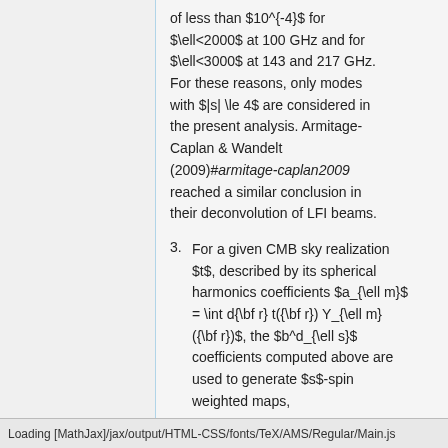of less than $10^{-4}$ for $\ell<2000$ at 100 GHz and for $\ell<3000$ at 143 and 217 GHz. For these reasons, only modes with $|s| \le 4$ are considered in the present analysis. Armitage-Caplan & Wandelt (2009)#armitage-caplan2009 reached a similar conclusion in their deconvolution of LFI beams.
3. For a given CMB sky realization $t$, described by its spherical harmonics coefficients $a_{\ell m} = \int d{\bf r} t({\bf r}) Y_{\ell m}({\bf r})$, the $b^d_{\ell s}$ coefficients computed above are used to generate $s$-spin weighted maps,
Loading [MathJax]/jax/output/HTML-CSS/fonts/TeX/AMS/Regular/Main.js